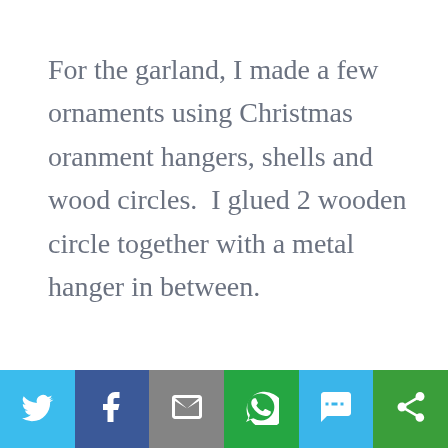For the garland, I made a few ornaments using Christmas oranment hangers, shells and wood circles.  I glued 2 wooden circle together with a metal hanger in between.
Share bar with Twitter, Facebook, Email, WhatsApp, SMS, More buttons